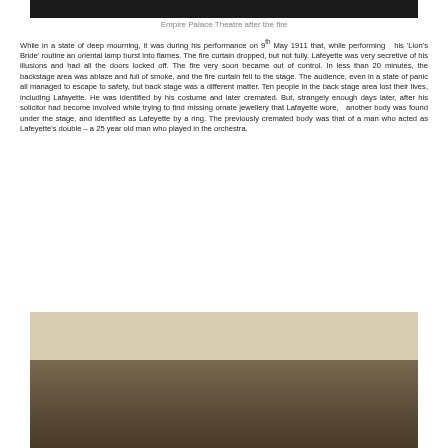[Figure (photo): Top portion of a photograph of the Empire Palace Theatre after the fire, showing a dark image]
Empire Palace Theatre after the fire
While in a state of deep mourning, it was during his performance on 9th May 1911 that, while performing his 'Lion's Bride' routine an oriental lamp burst into flames. The fire curtain dropped, but not fully. Lafeyette was very secretive of his illusions and had all the doors locked off. The fire very soon became out of control. In less than 20 minutes, the backstage area was ablaze and full of smoke, and the fire curtain fell to the stage. The audience, even in a state of panic all managed to escape to safety, but back stage was a different matter. Ten people in the back stage area lost their lives, including Lafayette. He was identified by his costume and later cremated. But, strangely enough days later, after his solicitor had become involved while trying to find missing ornate jewellery that Lafayette wore, another body was found under the stage, and identified as Lafeyette by a ring. The previously cremated body was that of a man who acted as Lafeyette's double – a 25 year old man who played in the orchestra.
[Figure (photo): A sepia-toned historical photograph showing trees and outdoor scenery, possibly related to Lafayette or the Empire Palace Theatre aftermath]